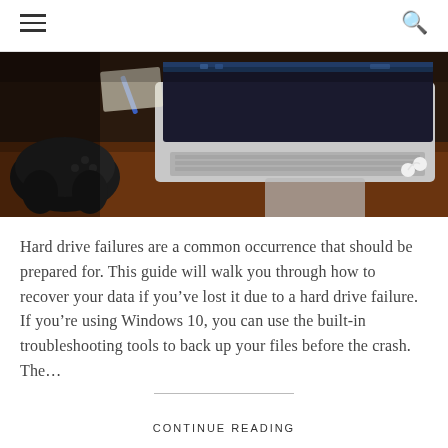[Figure (photo): A laptop computer open on a wooden desk with a game controller and earphones visible nearby, viewed from a low angle showing the keyboard and screen.]
Hard drive failures are a common occurrence that should be prepared for. This guide will walk you through how to recover your data if you’ve lost it due to a hard drive failure. If you’re using Windows 10, you can use the built-in troubleshooting tools to back up your files before the crash. The…
CONTINUE READING